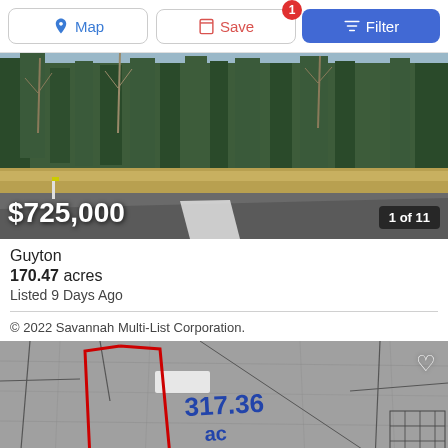[Figure (screenshot): Toolbar with Map, Save (badge: 1), and Filter buttons]
[Figure (photo): Aerial road-side photo of wooded land with price $725,000 overlay and '1 of 11' counter]
Guyton
170.47 acres
Listed 9 Days Ago
© 2022 Savannah Multi-List Corporation.
[Figure (map): Aerial parcel map with red outline showing parcel boundary and handwritten text '317.36 ac']